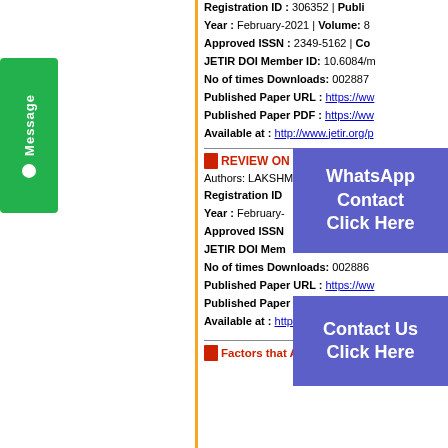[Figure (other): Green vertical Message tab on the left side of the page]
Registration ID : 306352 | Public
Year : February-2021 | Volume: 8
Approved ISSN : 2349-5162 | Co
JETIR DOI Member ID: 10.6084/m
No of times Downloads: 002887
Published Paper URL : https://www
Published Paper PDF : https://www
Available at : http://www.jetir.org/p
[Figure (other): WhatsApp Contact Click Here blue overlay button]
REVIEW ON
Authors: LAKSHMI V
Registration ID
Year : February-
Approved ISSN
JETIR DOI Mem
No of times Downloads: 002886
Published Paper URL : https://www
Published Paper PDF : https://www
Available at : http://www.jetir.org/p
[Figure (other): Contact Us Click Here blue overlay button]
Factors that Affected the Dow